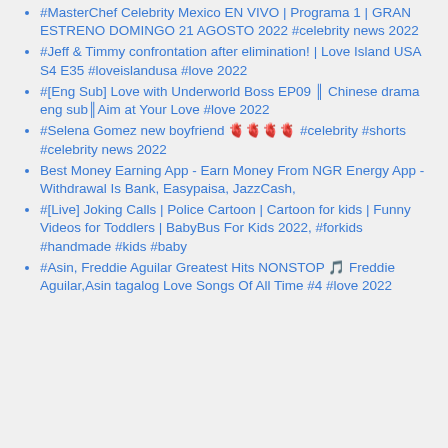#MasterChef Celebrity Mexico EN VIVO | Programa 1 | GRAN ESTRENO DOMINGO 21 AGOSTO 2022 #celebrity news 2022
#Jeff & Timmy confrontation after elimination! | Love Island USA S4 E35 #loveislandusa #love 2022
#[Eng Sub] Love with Underworld Boss EP09 ║ Chinese drama eng sub║Aim at Your Love #love 2022
#Selena Gomez new boyfriend 🫀🫀🫀🫀 #celebrity #shorts #celebrity news 2022
Best Money Earning App - Earn Money From NGR Energy App - Withdrawal Is Bank, Easypaisa, JazzCash,
#[Live] Joking Calls | Police Cartoon | Cartoon for kids | Funny Videos for Toddlers | BabyBus For Kids 2022, #forkids #handmade #kids #baby
#Asin, Freddie Aguilar Greatest Hits NONSTOP 🎵 Freddie Aguilar,Asin tagalog Love Songs Of All Time #4 #love 2022